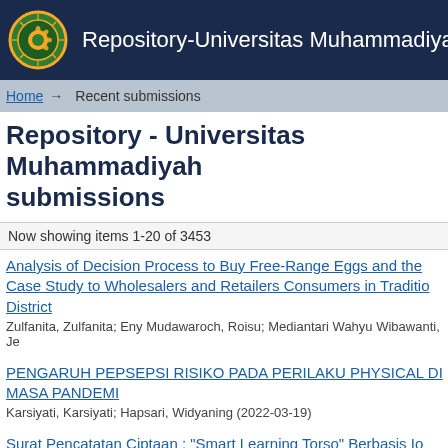Repository-Universitas Muhammadiyah Purw
Home → Recent submissions
Repository - Universitas Muhammadiyah submissions
Now showing items 1-20 of 3453
Analysis of Decision Process to Buy Free-Range Eggs and the Case Study to Wholesalers and Retailers Consumers in Traditio District
Zulfanita, Zulfanita; Eny Mudawaroch, Roisu; Mediantari Wahyu Wibawanti, Je
PENGARUH PEPSEPSI RISIKO PADA PERILAKU PHYSICAL DI MASA PANDEMI
Karsiyati, Karsiyati; Hapsari, Widyaning (2022-03-19)
Surat Pencatatan Ciptaan : "Smart Learning Torso" Berbasis Io Mandiri Untuk Anak Berkebutuhan Khusus (ABK) SLB